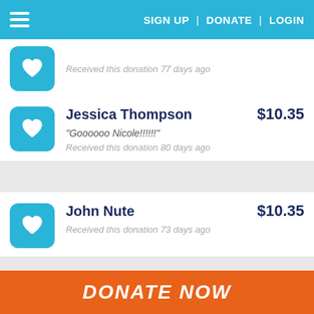SIGN UP | DONATE | LOGIN
Received this donation 77 days ago
Jessica Thompson $10.35
"Goooooo Nicole!!!!!!"
Received this donation 80 days ago
John Nute $10.35
Received this donation 73 days ago
MY TEAM
DONATE NOW